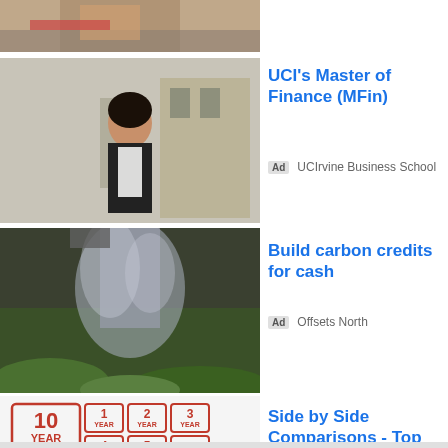[Figure (photo): Partial photo top strip showing person at desk with red clothing, cropped]
[Figure (photo): Woman in business attire standing outside building, smiling]
UCI's Master of Finance (MFin)
Ad UCIrvine Business School
[Figure (photo): Watering can pouring water over garden plants]
Build carbon credits for cash
Ad Offsets North
[Figure (illustration): Red stamp icons showing warranty durations: 10 year, 1 year, 2 year, 3 year, 4 year, 5 year, 15 year, 1 year, 2 year, 3 year, 4 year, 5 year, 10 year, 15 year extended warranty]
Side by Side Comparisons - Top 10 Car Warranty Reviews
Ad extendedautowarranty.com